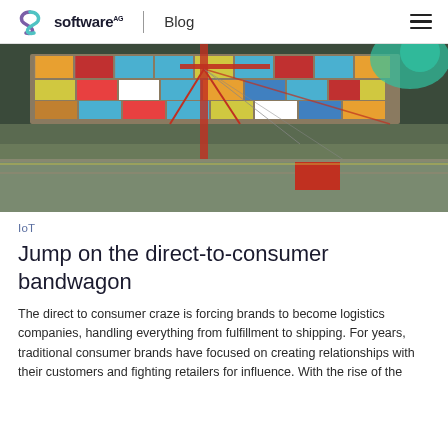software AG | Blog
[Figure (photo): Aerial view of a cargo ship loaded with colorful shipping containers at a port, with a large red crane visible in the center.]
IoT
Jump on the direct-to-consumer bandwagon
The direct to consumer craze is forcing brands to become logistics companies, handling everything from fulfillment to shipping. For years, traditional consumer brands have focused on creating relationships with their customers and fighting retailers for influence. With the rise of the